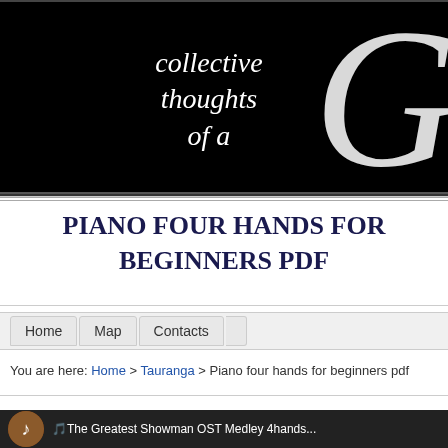[Figure (illustration): Black banner header with cursive italic text reading 'collective thoughts of a' and a large decorative letter G on the right side]
PIANO FOUR HANDS FOR BEGINNERS PDF
Home
Map
Contacts
You are here: Home > Tauranga > Piano four hands for beginners pdf
[Figure (screenshot): Dark footer strip with circular icon and text beginning 'The Greatest Showman OST Medley 4hands']